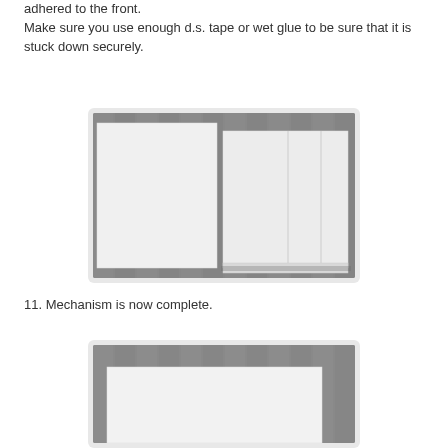adhered to the front. Make sure you use enough d.s. tape or wet glue to be sure that it is stuck down securely.
[Figure (photo): Photo showing two white card panels side by side on a grey wood-textured surface. Left panel is a single flat white square. Right panel shows a folded/layered white card structure with visible flaps.]
11. Mechanism is now complete.
[Figure (photo): Photo showing a white card or paper panel laid against a grey metallic/wood-textured background, partially visible at the bottom of the page.]